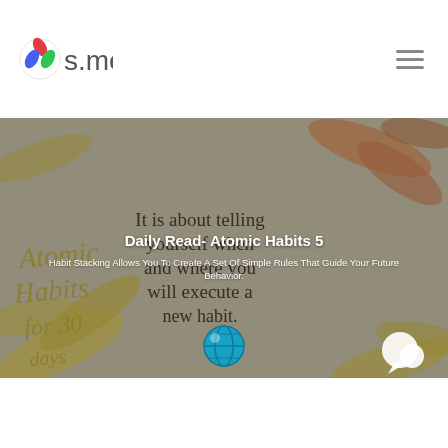os.me
[Figure (illustration): Hero banner image with golden/olive brush strokes on a gray background. Handwritten script text 'Atomic Habits for 30 days' on the left, and serif display text 'It is about telling yourself when and where you will execute a new habit.' on the right. Teal globe icon and white speech bubble icon at the bottom center.]
Daily Read- Atomic Habits 5
Habit Stacking Allows You To Create A Set Of Simple Rules That Guide Your Future Behavior.